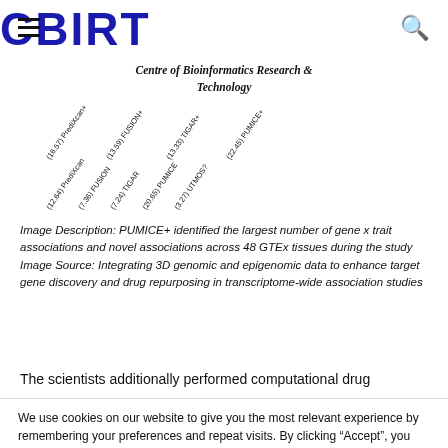CBIRT — Centre of Bioinformatics Research & Technology
[Figure (other): Rotated axis labels showing method names and values: (12.64) PrediXcan, (7.36) FUSION, (7.24) TIGAR, (20.65) PUMICE, (3.27) UTMOS?, (16.57) PrediXcan+, (13.59) FUSION+, (13.33) TIGAR+, (22.45) PUMICE+]
Image Description: PUMICE+ identified the largest number of gene x trait associations and novel associations across 48 GTEx tissues during the study
Image Source: Integrating 3D genomic and epigenomic data to enhance target gene discovery and drug repurposing in transcriptome-wide association studies
The scientists additionally performed computational drug
We use cookies on our website to give you the most relevant experience by remembering your preferences and repeat visits. By clicking “Accept”, you consent to the use of ALL the cookies. Read More
.
Cookie Settings   Accept